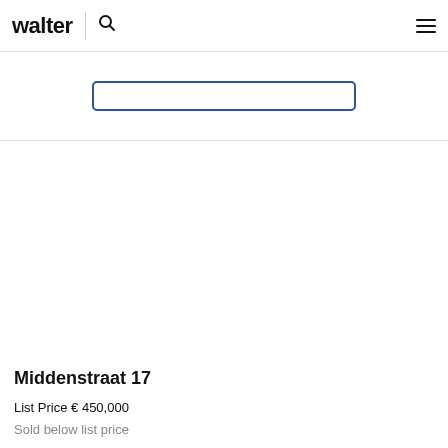walter
[Figure (screenshot): White blank property image area]
Middenstraat 17
List Price € 450,000
Sold below list price